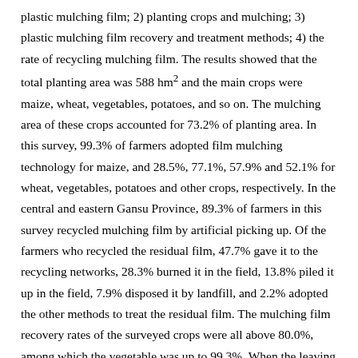plastic mulching film; 2) planting crops and mulching; 3) plastic mulching film recovery and treatment methods; 4) the rate of recycling mulching film. The results showed that the total planting area was 588 hm² and the main crops were maize, wheat, vegetables, potatoes, and so on. The mulching area of these crops accounted for 73.2% of planting area. In this survey, 99.3% of farmers adopted film mulching technology for maize, and 28.5%, 77.1%, 57.9% and 52.1% for wheat, vegetables, potatoes and other crops, respectively. In the central and eastern Gansu Province, 89.3% of farmers in this survey recycled mulching film by artificial picking up. Of the farmers who recycled the residual film, 47.7% gave it to the recycling networks, 28.3% burned it in the field, 13.8% piled it up in the field, 7.9% disposed it by landfill, and 2.2% adopted the other methods to treat the residual film. The mulching film recovery rates of the surveyed crops were all above 80.0%, among which the vegetable was up to 99.3%. When the leaving field rate of mulching film was 80% and 90%, the recovery rate of mulching film in vegetables was the best, reached to 79.4% and 89.4% in 2018, respectively. To sum up, there were 4 main problems of plastic mulching film recycling process: 1) the non-standard and non-recyclability of